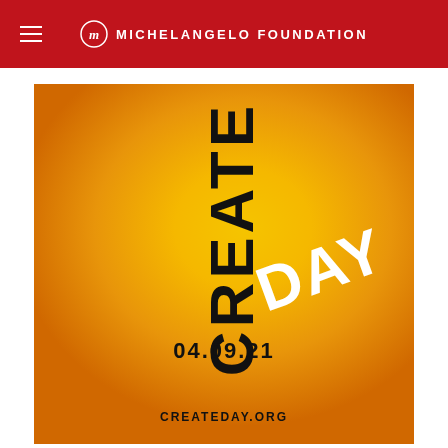MICHELANGELO FOUNDATION
[Figure (illustration): Yellow/orange radial gradient square promotional image for Create Day event. Large black vertical text reading 'CREATE' and overlapping white rotated text 'DAY'. Below center: date '04.09.21' and website 'CREATEDAY.ORG'.]